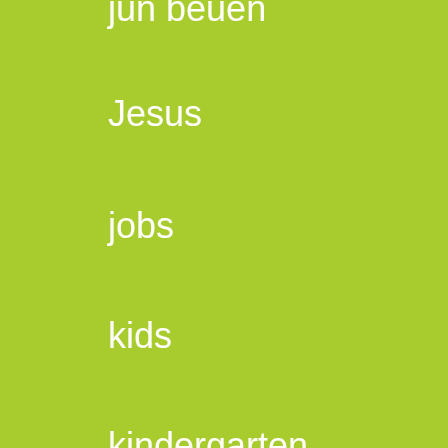jun beuen
Jesus
jobs
kids
kindergarten
kitchen
label
language
language arts